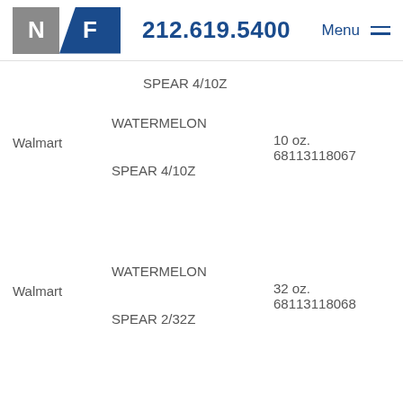N F  212.619.5400  Menu
SPEAR 4/10Z
Walmart  WATERMELON SPEAR 4/10Z  10 oz.  68113118067
Walmart  WATERMELON SPEAR 2/32Z  32 oz.  68113118068
SEASONAL